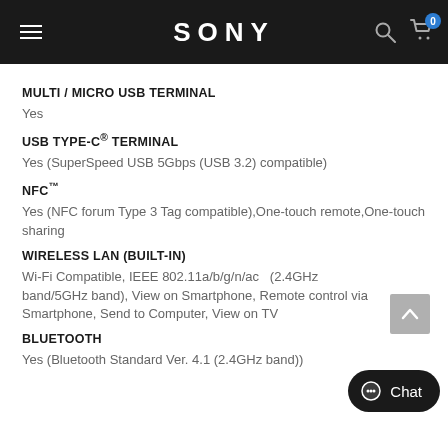SONY
MULTI / MICRO USB TERMINAL
Yes
USB TYPE-C® TERMINAL
Yes (SuperSpeed USB 5Gbps (USB 3.2) compatible)
NFC™
Yes (NFC forum Type 3 Tag compatible),One-touch remote,One-touch sharing
WIRELESS LAN (BUILT-IN)
Wi-Fi Compatible, IEEE 802.11a/b/g/n/ac   (2.4GHz band/5GHz band), View on Smartphone, Remote control via Smartphone, Send to Computer, View on TV
BLUETOOTH
Yes (Bluetooth Standard Ver. 4.1 (2.4GHz band))